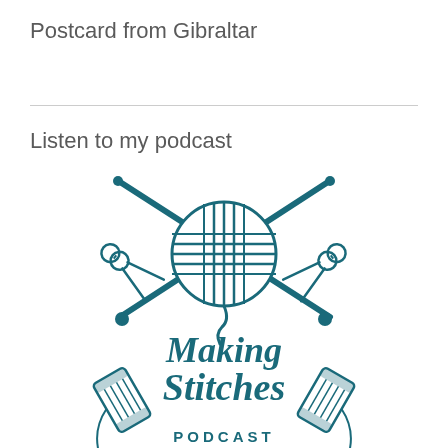Postcard from Gibraltar
Listen to my podcast
[Figure (logo): Making Stitches Podcast logo featuring a ball of yarn with knitting needles crossed behind it, scissors on either side, spools of thread at the bottom, and the text 'Making Stitches PODCAST' in teal/dark cyan color]